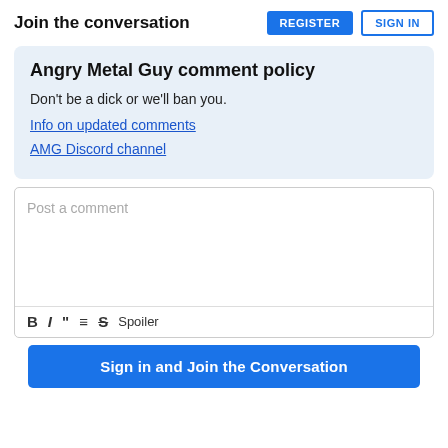Join the conversation
Angry Metal Guy comment policy
Don't be a dick or we'll ban you.
Info on updated comments
AMG Discord channel
Post a comment
B I " ≡ S Spoiler
Sign in and Join the Conversation